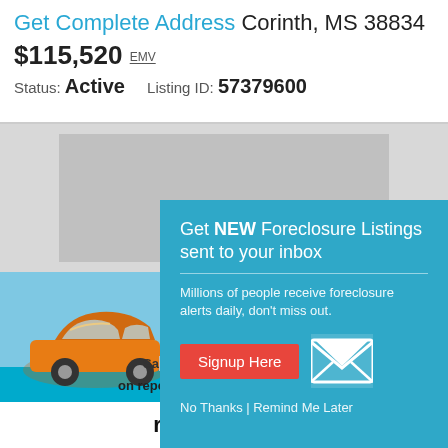Get Complete Address Corinth, MS 38834
$115,520 EMV
Status: Active    Listing ID: 57379600
[Figure (photo): Gray placeholder for property photo]
[Figure (photo): Advertisement showing orange car with repossessed items promotion. Text: Save thousands of dollars on repossessed items. Visit Today]
Get NEW Foreclosure Listings sent to your inbox
Millions of people receive foreclosure alerts daily, don't miss out.
Signup Here
No Thanks | Remind Me Later
[Figure (logo): repodirect logo with checkered arrow icon]